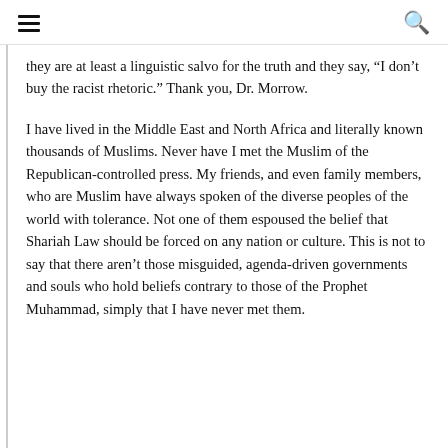[hamburger menu icon] [search icon]
they are at least a linguistic salvo for the truth and they say, “I don’t buy the racist rhetoric.” Thank you, Dr. Morrow.
I have lived in the Middle East and North Africa and literally known thousands of Muslims. Never have I met the Muslim of the Republican-controlled press. My friends, and even family members, who are Muslim have always spoken of the diverse peoples of the world with tolerance. Not one of them espoused the belief that Shariah Law should be forced on any nation or culture. This is not to say that there aren’t those misguided, agenda-driven governments and souls who hold beliefs contrary to those of the Prophet Muhammad, simply that I have never met them.